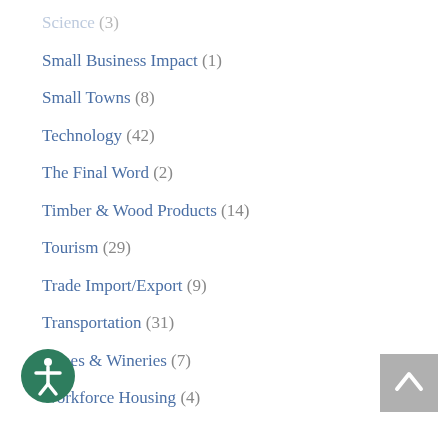Science (3)
Small Business Impact (1)
Small Towns (8)
Technology (42)
The Final Word (2)
Timber & Wood Products (14)
Tourism (29)
Trade Import/Export (9)
Transportation (31)
Wines & Wineries (7)
Workforce Housing (4)